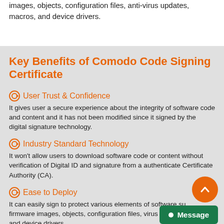images, objects, configuration files, anti-virus updates, macros, and device drivers.
Key Benefits of Comodo Code Signing Certificate
User Trust & Confidence — It gives user a secure experience about the integrity of software code and content and it has not been modified since it signed by the digital signature technology.
Industry Standard Technology — It won't allow users to download software code or content without verification of Digital ID and signature from a authenticate Certificate Authority (CA).
Ease to Deploy — It can easily sign to protect various elements of software such as firmware images, objects, configuration files, virus updates, macros, and device drivers.
Authentication